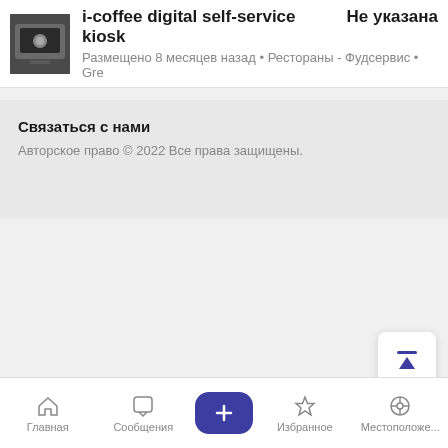i-coffee digital self-service kiosk  Не указана
Размещено 8 месяцев назад • Рестораны - Фудсервис • Gre
Связаться с нами
Авторское право © 2022 Все права защищены.
+XX XXXXXX
Написать
Главная  Сообщения  +  Избранное  Местоположе...